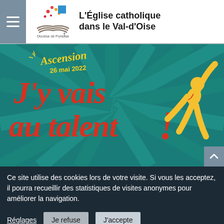L'Église catholique dans le Val-d'Oise
[Figure (illustration): Colorful promotional banner for 'Ascension 26 mai 2022' with large retro text reading 'J'y vais au talent!' on a teal starburst background with a yellow silhouette figure jumping]
Ce site utilise des cookies lors de votre visite. Si vous les acceptez, il pourra recueillir des statistiques de visites anonymes pour améliorer la navigation.
Réglages  Je refuse  J'accepte